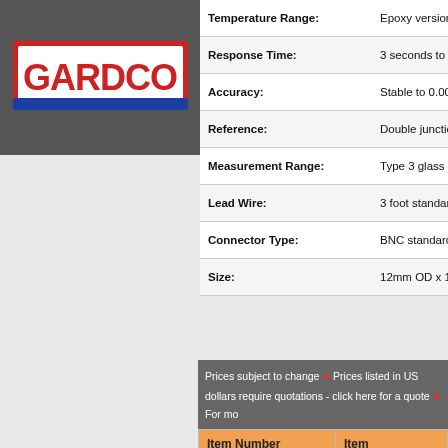[Figure (logo): Gardco company logo with red and blue styling on dark grey header background]
HOMEABOUTPRODUCTSRE
| Temperature Range: | Epoxy version 0 - 80°C |
| Response Time: | 3 seconds to 98% of fi |
| Accuracy: | Stable to 0.005 pH per |
| Reference: | Double junction, sealed |
| Measurement Range: | Type 3 glass - 1 to 12 p |
| Lead Wire: | 3 foot standard, up to 1 |
| Connector Type: | BNC standard with ma |
| Size: | 12mm OD x 150mm L |
Prices
Prices subject to change • Prices listed in US dollars require quotations - click here for a quote • For mo
| Item Number | Item |
| --- | --- |
| PH-9025 | pHastrode pH Electrode 1-12 pH |